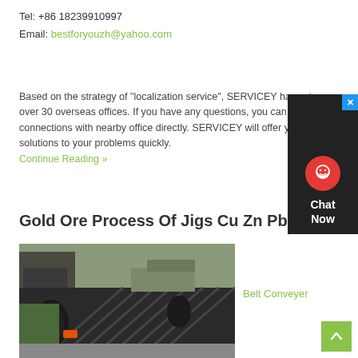Tel: +86 18239910997
Email: bestforyouzh@yahoo.com
Based on the strategy of "localization service", SERVICEY has set over 30 overseas offices. If you have any questions, you can make connections with nearby office directly. SERVICEY will offer you solutions to your problems quickly.
Continue Reading »
Gold Ore Process Of Jigs Cu Zn Pb
[Figure (photo): Industrial belt conveyer with chevron pattern belting, shown in an outdoor or warehouse facility. Heavy machinery visible in background.]
Belt Conveyer